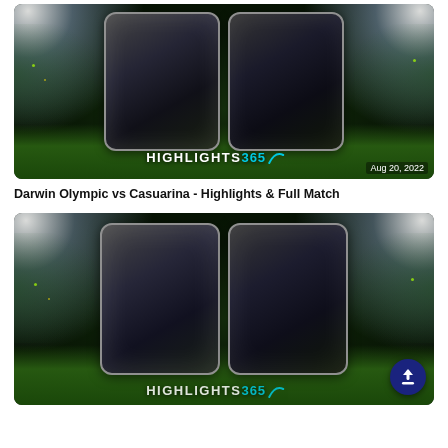[Figure (photo): Highlights365 branded thumbnail image showing a football stadium background with two dark team image boxes side by side, spotlights, green pitch, and date 'Aug 20, 2022' in bottom right corner]
Darwin Olympic vs Casuarina - Highlights & Full Match
[Figure (photo): Second Highlights365 branded thumbnail image showing a football stadium background with two dark team image boxes side by side, spotlights and green pitch. Partial 'HIGHLIGHTS365' logo visible at bottom. Blue scroll-to-top button in bottom right corner.]